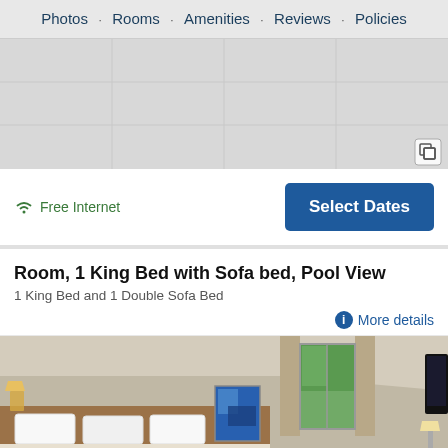Photos · Rooms · Amenities · Reviews · Policies
[Figure (map): Gray map or image placeholder area with a map/photo icon in the bottom-right corner]
Free Internet
Select Dates
Room, 1 King Bed with Sofa bed, Pool View
1 King Bed and 1 Double Sofa Bed
More details
[Figure (photo): Hotel room interior showing a king bed with white pillows, wooden headboard, blue artwork on wall, window with view of trees/pool, curtains, and a lamp on right side. TV visible on far right edge.]